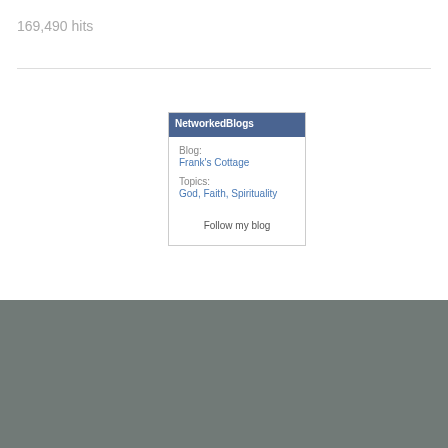169,490 hits
[Figure (infographic): NetworkedBlogs widget showing Blog: Frank's Cottage, Topics: God, Faith, Spirituality, with a Follow my blog link]
View Full Site
Blog at WordPress.com